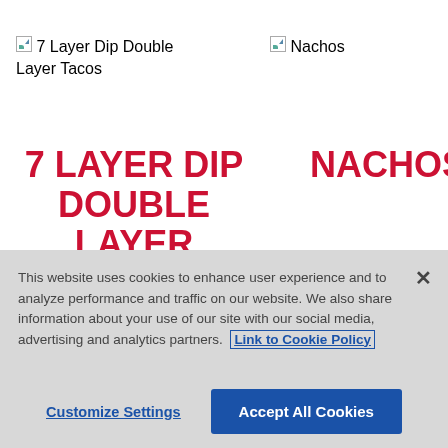[Figure (other): Broken image placeholder for '7 Layer Dip Double Layer Tacos']
[Figure (other): Broken image placeholder for 'Nachos']
7 LAYER DIP DOUBLE LAYER TACOS
NACHOS
This website uses cookies to enhance user experience and to analyze performance and traffic on our website. We also share information about your use of our site with our social media, advertising and analytics partners. Link to Cookie Policy
Customize Settings
Accept All Cookies